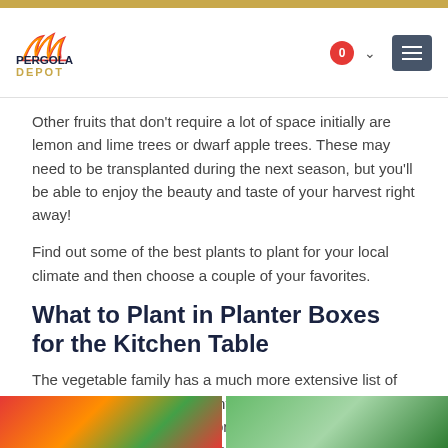Pergola Depot
Other fruits that don't require a lot of space initially are lemon and lime trees or dwarf apple trees. These may need to be transplanted during the next season, but you'll be able to enjoy the beauty and taste of your harvest right away!
Find out some of the best plants to plant for your local climate and then choose a couple of your favorites.
What to Plant in Planter Boxes for the Kitchen Table
The vegetable family has a much more extensive list of plants to choose from for container gardening. The size planter boxes you're using for your raised garden will determine which vegetables you can plant for your backyard raised garden.
[Figure (photo): Two photos side by side at the bottom of the page: left shows colorful fruits/vegetables, right shows green leafy vegetables.]